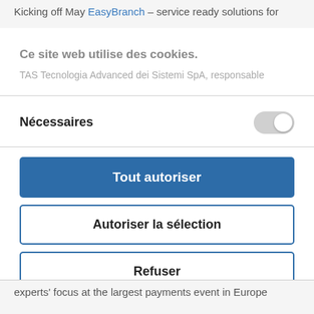Kicking off May EasyBranch – service ready solutions for
Ce site web utilise des cookies.
TAS Tecnologia Advanced dei Sistemi SpA, responsable
Nécessaires
Tout autoriser
Autoriser la sélection
Refuser
Powered by Cookiebot by Usercentrics
experts' focus at the largest payments event in Europe